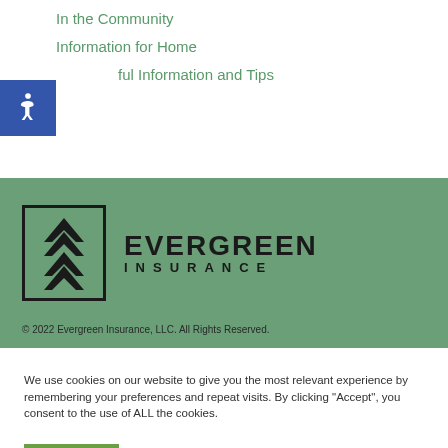In the Community
Information for Home
Helpful Information and Tips
[Figure (logo): Evergreen Insurance logo with double chevron/mountain symbol in a square box and bold EVERGREEN INSURANCE text]
© 2022 Evergreen Insurance, LLC. All Rights Reserved.
We use cookies on our website to give you the most relevant experience by remembering your preferences and repeat visits. By clicking "Accept", you consent to the use of ALL the cookies.